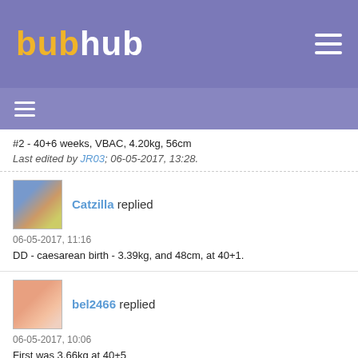bubhub
#2 - 40+6 weeks, VBAC, 4.20kg, 56cm
Last edited by JR03; 06-05-2017, 13:28.
Catzilla replied
06-05-2017, 11:16
DD - caesarean birth - 3.39kg, and 48cm, at 40+1.
bel2466 replied
06-05-2017, 10:06
First was 3.66kg at 40+5
Second was 3.00kg at 36+4